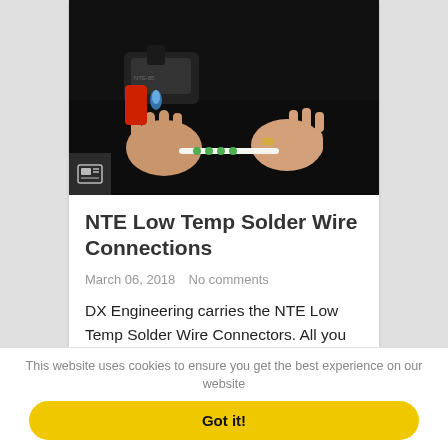[Figure (photo): Hands using a heat gun tool on a wire connector — NTE Low Temp Solder Wire Connections product demonstration photo]
NTE Low Temp Solder Wire Connections
March 06, 2018   No comments
DX Engineering carries the NTE Low Temp Solder Wire Connectors. All you need is a heat gun to make solder connections between wires. Four
This website uses cookies to ensure you get the best experience on our website
Got it!